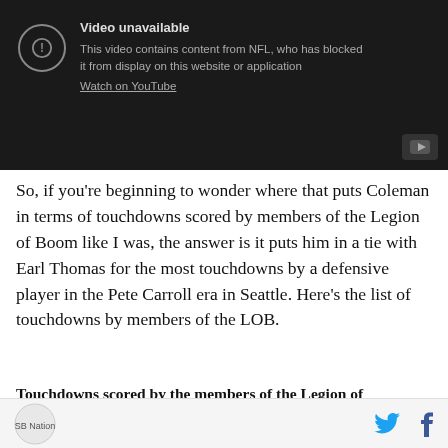[Figure (screenshot): YouTube video unavailable embed showing 'Video unavailable' message: 'This video contains content from NFL, who has blocked it from display on this website or application. Watch on YouTube']
So, if you’re beginning to wonder where that puts Coleman in terms of touchdowns scored by members of the Legion of Boom like I was, the answer is it puts him in a tie with Earl Thomas for the most touchdowns by a defensive player in the Pete Carroll era in Seattle. Here’s the list of touchdowns by members of the LOB.
Touchdowns scored by the members of the Legion of